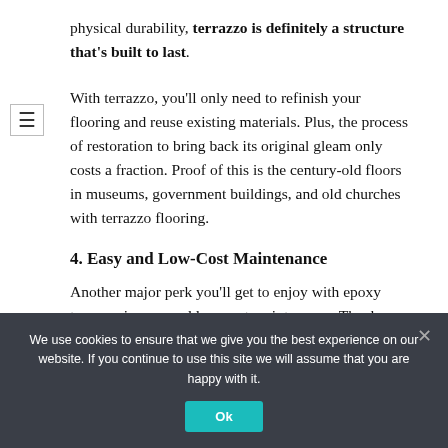physical durability, terrazzo is definitely a structure that's built to last.
With terrazzo, you'll only need to refinish your flooring and reuse existing materials. Plus, the process of restoration to bring back its original gleam only costs a fraction. Proof of this is the century-old floors in museums, government buildings, and old churches with terrazzo flooring.
4. Easy and Low-Cost Maintenance
Another major perk you'll get to enjoy with epoxy terrazzo is easy and low-cost maintenance. Thanks
We use cookies to ensure that we give you the best experience on our website. If you continue to use this site we will assume that you are happy with it.